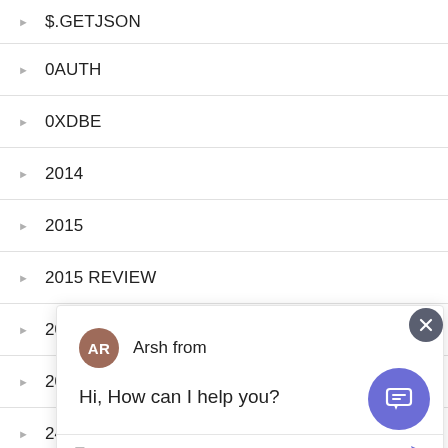$.GETJSON
0AUTH
0XDBE
2014
2015
2015 REVIEW
2016 CONFE
2017
24 WAYS
[Figure (screenshot): Chat widget popup from 'Arsh from' with message 'Hi, How can I help you?' and a text input field with placeholder 'Type your message' and a send arrow button. An X close button appears in the top right corner. A purple chat launcher button appears in the bottom right of the page.]